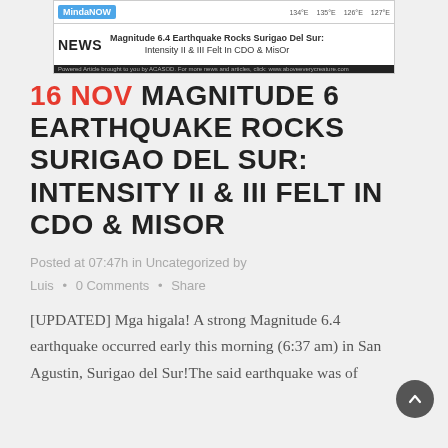[Figure (screenshot): MindaNOW news website header banner showing a map thumbnail and a NEWS section with headline: 'Magnitude 6.4 Earthquake Rocks Surigao Del Sur: Intensity II & III Felt In CDO & MisOr']
16 NOV MAGNITUDE 6 EARTHQUAKE ROCKS SURIGAO DEL SUR: INTENSITY II & III FELT IN CDO & MISOR
Posted at 07:47h in Uncategorized by
Luis • 0 Comments • Share
[UPDATED] Mga higala! A strong Magnitude 6.4 earthquake occurred early this morning (6:37 am) in San Agustin, Surigao del Sur!The said earthquake was of